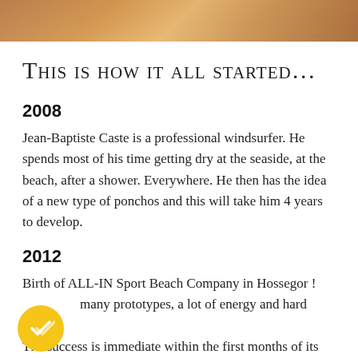[Figure (photo): Partial photo strip at top of page showing warm sandy/wooden tones]
This is how it all started...
2008
Jean-Baptiste Caste is a professional windsurfer. He spends most of his time getting dry at the seaside, at the beach, after a shower. Everywhere. He then has the idea of a new type of ponchos and this will take him 4 years to develop.
2012
Birth of ALL-IN Sport Beach Company in Hossegor ! After many prototypes, a lot of energy and hard work. The success is immediate within the first months of its